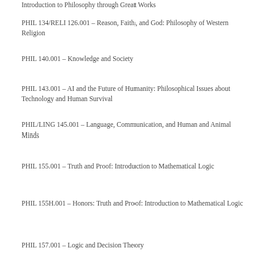Introduction to Philosophy through Great Works
PHIL 134/RELI 126.001 – Reason, Faith, and God: Philosophy of Western Religion
PHIL 140.001 – Knowledge and Society
PHIL 143.001 – AI and the Future of Humanity: Philosophical Issues about Technology and Human Survival
PHIL/LING 145.001 – Language, Communication, and Human and Animal Minds
PHIL 155.001 – Truth and Proof: Introduction to Mathematical Logic
PHIL 155H.001 – Honors: Truth and Proof: Introduction to Mathematical Logic
PHIL 157.001 – Logic and Decision Theory